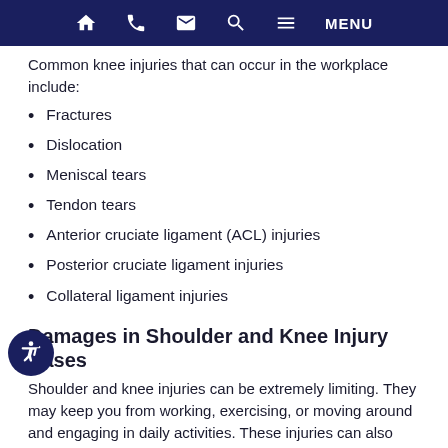MENU
Common knee injuries that can occur in the workplace include:
Fractures
Dislocation
Meniscal tears
Tendon tears
Anterior cruciate ligament (ACL) injuries
Posterior cruciate ligament injuries
Collateral ligament injuries
Damages in Shoulder and Knee Injury Cases
Shoulder and knee injuries can be extremely limiting. They may keep you from working, exercising, or moving around and engaging in daily activities. These injuries can also cause a significant amount of pain and suffering.